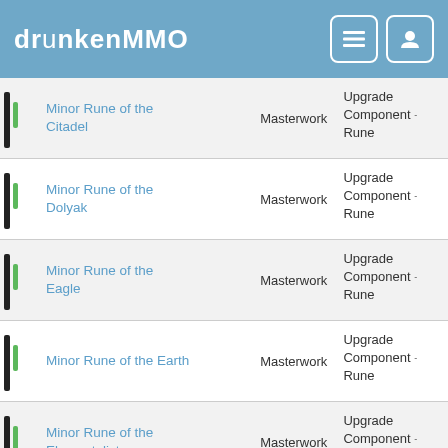drunkenMMO
|  | Name |  | Tier | Type |
| --- | --- | --- | --- | --- |
|  | Minor Rune of the Citadel |  | Masterwork | Upgrade Component - Rune |
|  | Minor Rune of the Dolyak |  | Masterwork | Upgrade Component - Rune |
|  | Minor Rune of the Eagle |  | Masterwork | Upgrade Component - Rune |
|  | Minor Rune of the Earth |  | Masterwork | Upgrade Component - Rune |
|  | Minor Rune of the Elementalist |  | Masterwork | Upgrade Component - Rune |
|  | Minor Rune of the Engineer |  | Masterwork | Upgrade Component - Rune |
|  | Minor Rune of the Fire |  | Masterwork | Upgrade Component - Rune |
|  | Minor Rune of the Flame Legion |  | Masterwork | Upgrade Component - Rune |